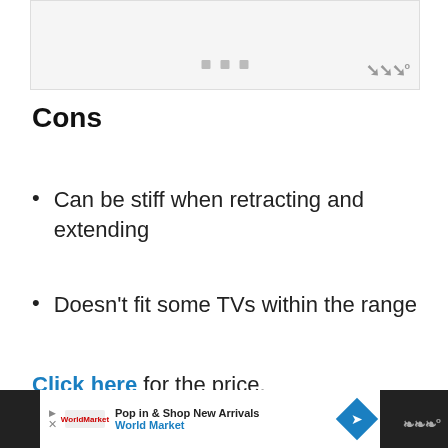[Figure (other): Grey placeholder image area with three small grey square dots and a logo in the lower right]
Cons
Can be stiff when retracting and extending
Doesn't fit some TVs within the range
Click here for the price.
Pop in & Shop New Arrivals World Market